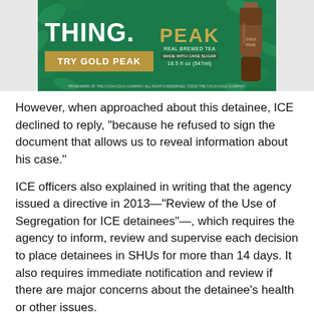[Figure (photo): Advertisement for Gold Peak Real Brewed Tea on a green background with the word THING. in large white bold text, a gold button reading TRY GOLD PEAK, the Gold Peak logo in gold text, and a tea bottle on the right side with leaf decorations.]
However, when approached about this detainee, ICE declined to reply, “because he refused to sign the document that allows us to reveal information about his case.”
ICE officers also explained in writing that the agency issued a directive in 2013—“Review of the Use of Segregation for ICE detainees”—, which requires the agency to inform, review and supervise each decision to place detainees in SHUs for more than 14 days. It also requires immediate notification and review if there are major concerns about the detainee’s health or other issues.
ICE argues that according to its records, only 0.5% of the detainees under its custody were in solitary confinement